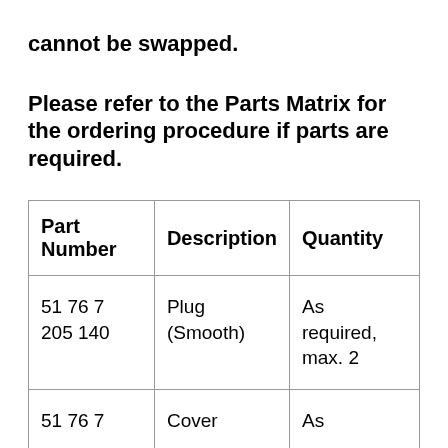cannot be swapped.
Please refer to the Parts Matrix for the ordering procedure if parts are required.
| Part Number | Description | Quantity |
| --- | --- | --- |
| 51 76 7 205 140 | Plug (Smooth) | As required, max. 2 |
| 51 76 7 | Cover | As |